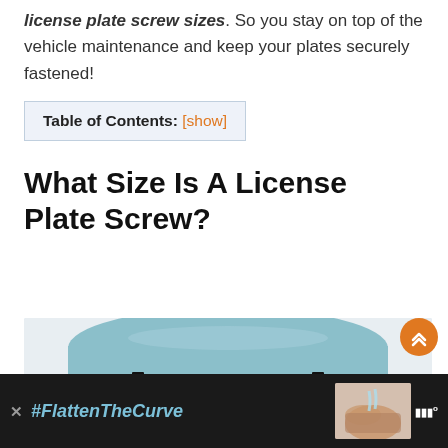license plate screw sizes. So you stay on top of the vehicle maintenance and keep your plates securely fastened!
Table of Contents: [show]
What Size Is A License Plate Screw?
[Figure (photo): Photo of the rear of a light blue car, showing the license plate mounting area with two mounting brackets visible]
[Figure (other): Advertisement banner with dark background showing #FlattenTheCurve text in teal italic font, with an image of hands being washed and a logo on the right]